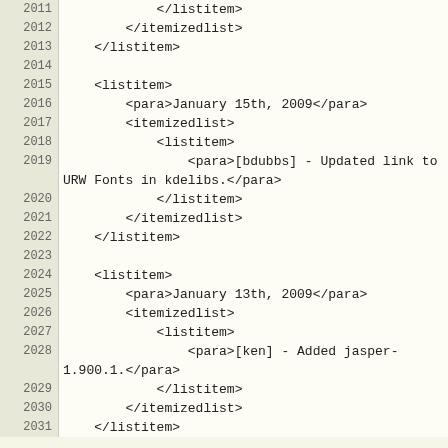Code listing lines 2011-2031 showing XML source with listitem, itemizedlist, and para tags
2011    </listitem>
2012    </itemizedlist>
2013    </listitem>
2014
2015    <listitem>
2016        <para>January 15th, 2009</para>
2017        <itemizedlist>
2018            <listitem>
2019                <para>[bdubbs] - Updated link to URW Fonts in kdelibs.</para>
2020            </listitem>
2021        </itemizedlist>
2022    </listitem>
2023
2024    <listitem>
2025        <para>January 13th, 2009</para>
2026        <itemizedlist>
2027            <listitem>
2028                <para>[ken] - Added jasper-1.900.1.</para>
2029            </listitem>
2030        </itemizedlist>
2031    </listitem>